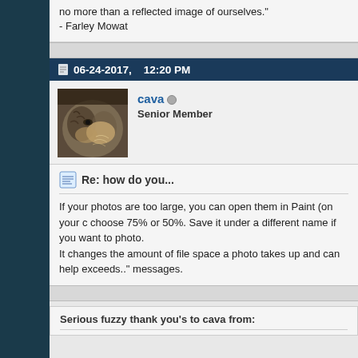no more than a reflected image of ourselves."
- Farley Mowat
06-24-2017,    12:20 PM
[Figure (photo): Close-up photo of a cat's face, showing fur detail]
cava   Senior Member
Re: how do you...
If your photos are too large, you can open them in Paint (on your c choose 75% or 50%. Save it under a different name if you want to photo.
It changes the amount of file space a photo takes up and can help exceeds.." messages.
Serious fuzzy thank you's to cava from: